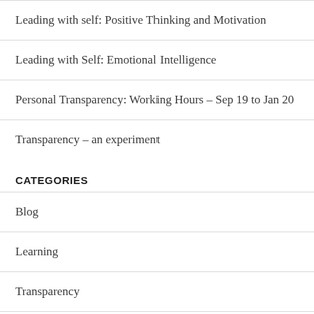Leading with self: Positive Thinking and Motivation
Leading with Self: Emotional Intelligence
Personal Transparency: Working Hours – Sep 19 to Jan 20
Transparency – an experiment
CATEGORIES
Blog
Learning
Transparency